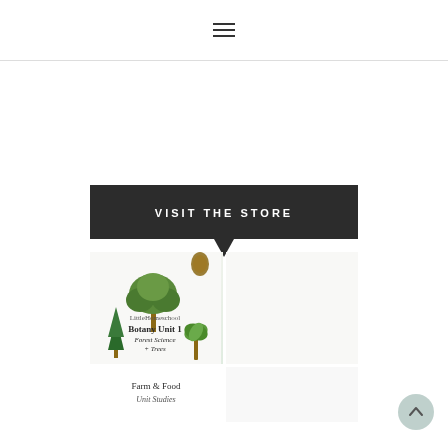≡
[Figure (screenshot): VISIT THE STORE dark button with downward chevron arrow below it]
[Figure (illustration): Product grid showing Nature Homeschool Unit Studies Coming Soon, Botany Unit 1 Forest Science Trees, Farm & Food thumbnails]